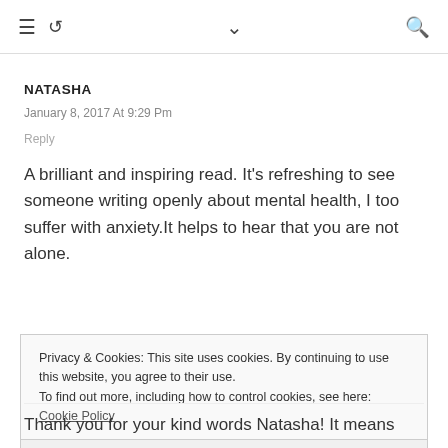≡ ↺ ∨ 🔍
NATASHA
January 8, 2017 At 9:29 Pm
Reply
A brilliant and inspiring read. It's refreshing to see someone writing openly about mental health, I too suffer with anxiety.It helps to hear that you are not alone.
Privacy & Cookies: This site uses cookies. By continuing to use this website, you agree to their use.
To find out more, including how to control cookies, see here: Cookie Policy
Close and accept
Thank you for your kind words Natasha! It means